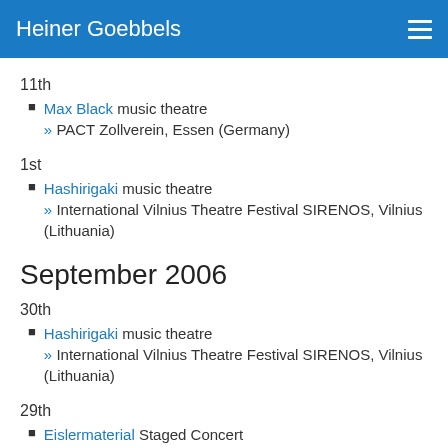Heiner Goebbels
11th
Max Black music theatre » PACT Zollverein, Essen (Germany)
1st
Hashirigaki music theatre » International Vilnius Theatre Festival SIRENOS, Vilnius (Lithuania)
September 2006
30th
Hashirigaki music theatre » International Vilnius Theatre Festival SIRENOS, Vilnius (Lithuania)
29th
Eislermaterial Staged Concert